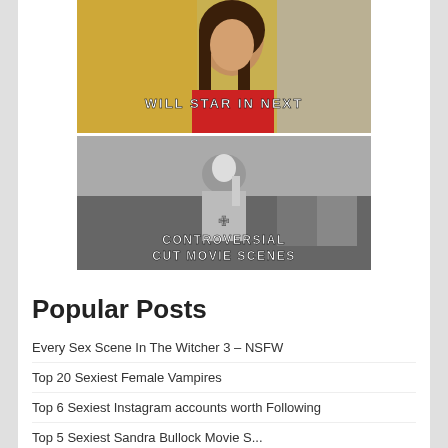[Figure (photo): Woman with brown hair at event; overlay text: 'WILL STAR IN NEXT']
[Figure (photo): Black and white photo of shirtless man with tattoos; overlay text: 'CONTROVERSIAL CUT MOVIE SCENES']
Popular Posts
Every Sex Scene In The Witcher 3 – NSFW
Top 20 Sexiest Female Vampires
Top 6 Sexiest Instagram accounts worth Following
Top 5 Sexiest Sandra Bullock Movie S...